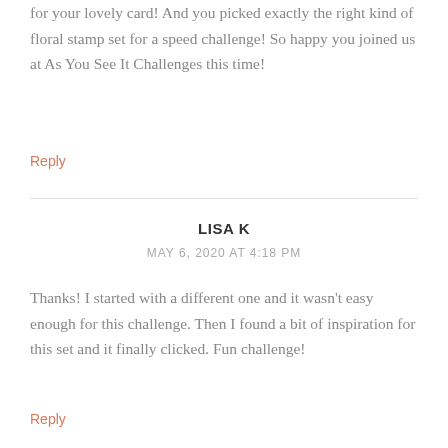for your lovely card! And you picked exactly the right kind of floral stamp set for a speed challenge! So happy you joined us at As You See It Challenges this time!
Reply
LISA K
MAY 6, 2020 AT 4:18 PM
Thanks! I started with a different one and it wasn't easy enough for this challenge. Then I found a bit of inspiration for this set and it finally clicked. Fun challenge!
Reply